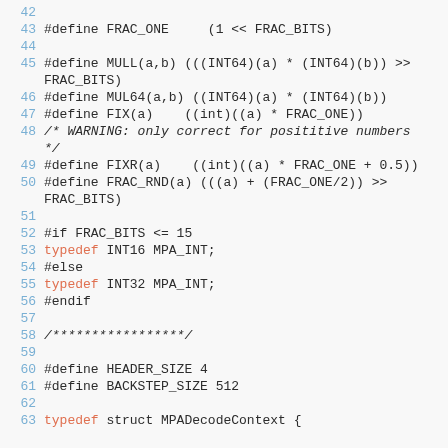[Figure (screenshot): Source code listing in C showing preprocessor macro definitions and typedef declarations for fixed-point arithmetic and MPA decode context, lines 42-63.]